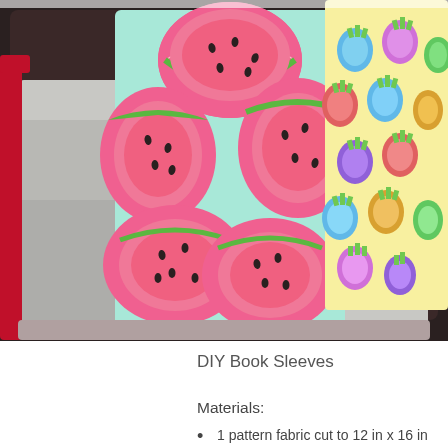[Figure (photo): Open suitcase viewed from above containing folded gray clothes and two fabric book sleeves — one with a colorful watermelon pattern and one with a colorful pineapple pattern on a light yellow background.]
DIY Book Sleeves
Materials:
1 pattern fabric cut to 12 in x 16 in (for outside of sleeve)
1 pattern fabric cut to 12 in x 16 in (for inside lining of sleeve)